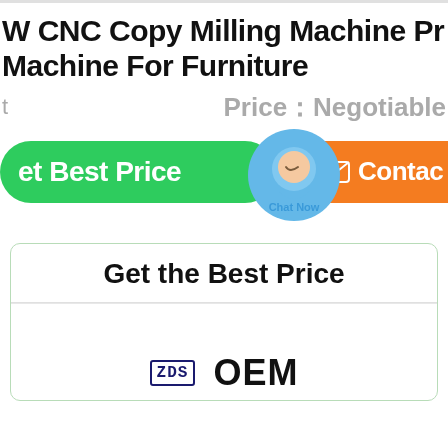W CNC Copy Milling Machine Pr Machine For Furniture
Price：Negotiable
[Figure (screenshot): Green 'Get Best Price' button, chat bubble widget labeled 'Chat Now', and orange 'Contact' button]
Get the Best Price
[Figure (logo): ZPS logo and OEM text at bottom of form card]